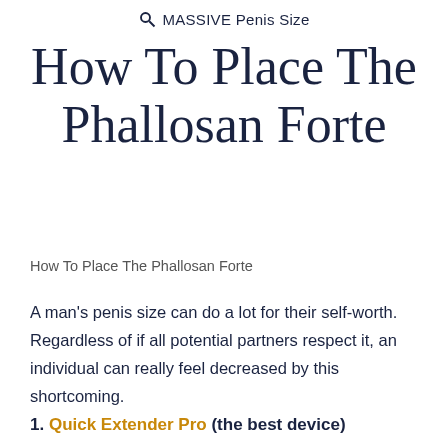MASSIVE Penis Size
How To Place The Phallosan Forte
How To Place The Phallosan Forte
A man's penis size can do a lot for their self-worth. Regardless of if all potential partners respect it, an individual can really feel decreased by this shortcoming.
1. Quick Extender Pro (the best device)